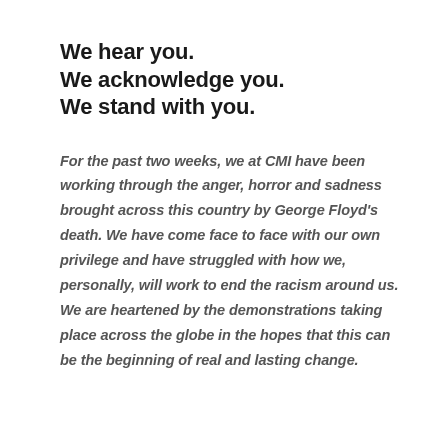We hear you.
We acknowledge you.
We stand with you.
For the past two weeks, we at CMI have been working through the anger, horror and sadness brought across this country by George Floyd's death. We have come face to face with our own privilege and have struggled with how we, personally, will work to end the racism around us. We are heartened by the demonstrations taking place across the globe in the hopes that this can be the beginning of real and lasting change.